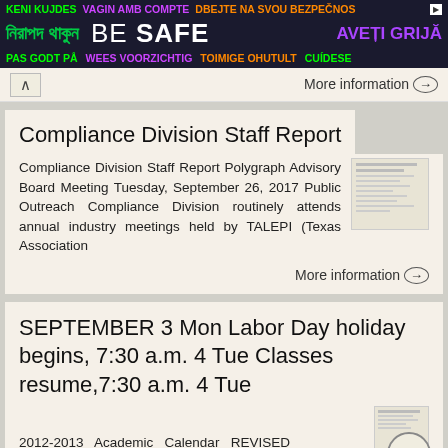[Figure (infographic): Multilingual 'BE SAFE' banner advertisement with text in multiple languages and scripts on dark background]
More information →
Compliance Division Staff Report
Compliance Division Staff Report Polygraph Advisory Board Meeting Tuesday, September 26, 2017 Public Outreach Compliance Division routinely attends annual industry meetings held by TALEPI (Texas Association
More information →
SEPTEMBER 3 Mon Labor Day holiday begins, 7:30 a.m. 4 Tue Classes resume,7:30 a.m. 4 Tue
2012-2013 Academic Calendar REVISED